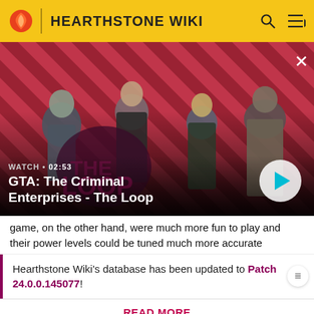HEARTHSTONE WIKI
[Figure (screenshot): GTA: The Criminal Enterprises - The Loop video thumbnail with characters on a diagonal stripe red/dark background. Watch • 02:53 label and play button shown.]
game, on the other hand, were much more fun to play and their power levels could be tuned much more accurate
Hearthstone Wiki's database has been updated to Patch 24.0.0.145077!
READ MORE